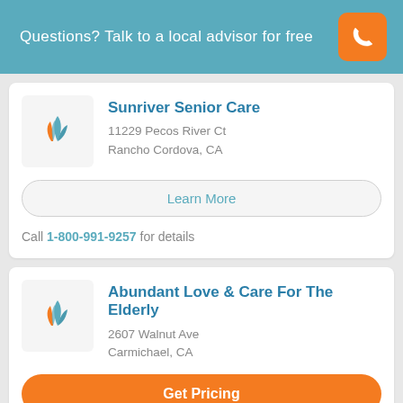Questions? Talk to a local advisor for free
Sunriver Senior Care
11229 Pecos River Ct
Rancho Cordova, CA
Learn More
Call 1-800-991-9257 for details
Abundant Love & Care For The Elderly
2607 Walnut Ave
Carmichael, CA
Get Pricing